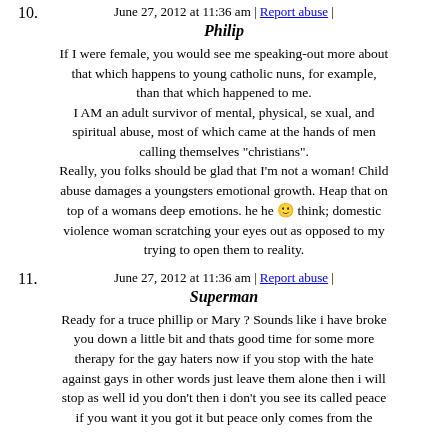June 27, 2012 at 11:36 am | Report abuse |
10. Philip
If I were female, you would see me speaking-out more about that which happens to young catholic nuns, for example, than that which happened to me.
I AM an adult survivor of mental, physical, se xual, and spiritual abuse, most of which came at the hands of men calling themselves "christians".
Really, you folks should be glad that I'm not a woman! Child abuse damages a youngsters emotional growth. Heap that on top of a womans deep emotions. he he 🙂 think; domestic violence woman scratching your eyes out as opposed to my trying to open them to reality.
June 27, 2012 at 11:36 am | Report abuse |
11. Superman
Ready for a truce phillip or Mary ? Sounds like i have broke you down a little bit and thats good time for some more therapy for the gay haters now if you stop with the hate against gays in other words just leave them alone then i will stop as well id you don't then i don't you see its called peace if you want it you got it but peace only comes from the